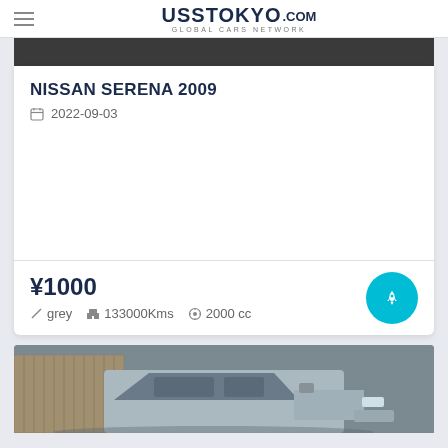USS Tokyo.com — Global Cars Network
NISSAN SERENA 2009
2022-09-03
¥1000
grey  133000Kms  2000 cc
[Figure (photo): Partial view of a silver/grey van (Nissan Serena) from front-right angle, parked outdoors]